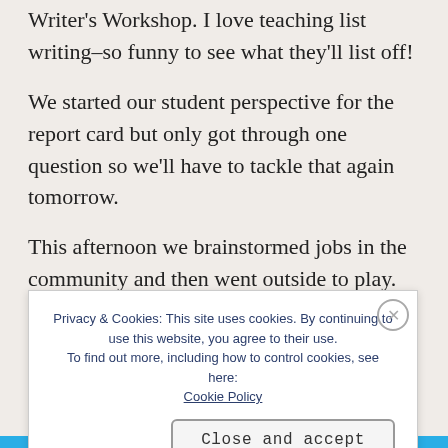Writer's Workshop. I love teaching list writing–so funny to see what they'll list off!
We started our student perspective for the report card but only got through one question so we'll have to tackle that again tomorrow.
This afternoon we brainstormed jobs in the community and then went outside to play.
Privacy & Cookies: This site uses cookies. By continuing to use this website, you agree to their use. To find out more, including how to control cookies, see here: Cookie Policy